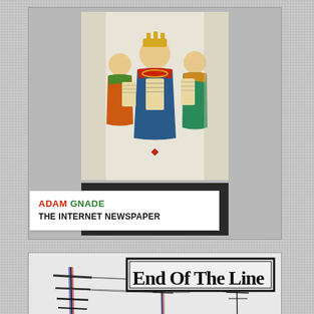[Figure (illustration): Book cover of 'The Internet Newspaper' by Adam Gnade showing a medieval painting of figures in colorful robes, with a dark band at the bottom showing the author name and title.]
ADAM GNADE
THE INTERNET NEWSPAPER
[Figure (photo): Black and white photo of telephone/utility poles along a road, with a banner reading 'End Of The Line' in a bold bordered font. Chromatic aberration effect visible on the poles (red/blue shift).]